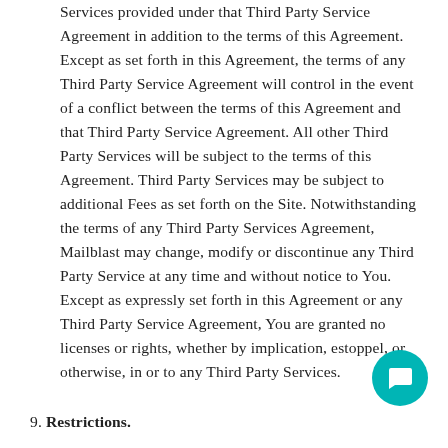Services provided under that Third Party Service Agreement in addition to the terms of this Agreement. Except as set forth in this Agreement, the terms of any Third Party Service Agreement will control in the event of a conflict between the terms of this Agreement and that Third Party Service Agreement. All other Third Party Services will be subject to the terms of this Agreement. Third Party Services may be subject to additional Fees as set forth on the Site. Notwithstanding the terms of any Third Party Services Agreement, Mailblast may change, modify or discontinue any Third Party Service at any time and without notice to You. Except as expressly set forth in this Agreement or any Third Party Service Agreement, You are granted no licenses or rights, whether by implication, estoppel, or otherwise, in or to any Third Party Services.
9. Restrictions.